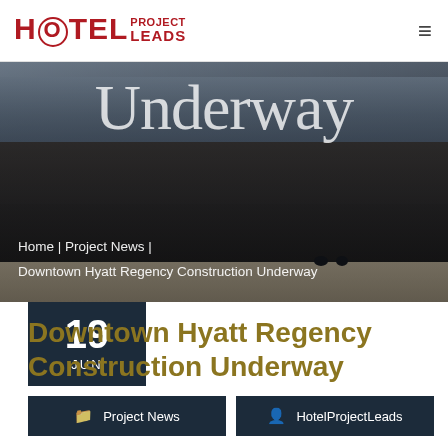HOTEL Project Leads
[Figure (photo): Hero image of hotel room bed with dark bedding, partially visible. Large text 'Underway' overlaid in white serif font. Breadcrumb navigation below: Home | Project News | Downtown Hyatt Regency Construction Underway]
Home | Project News | Downtown Hyatt Regency Construction Underway
19 JUN
Downtown Hyatt Regency Construction Underway
Project News
HotelProjectLeads